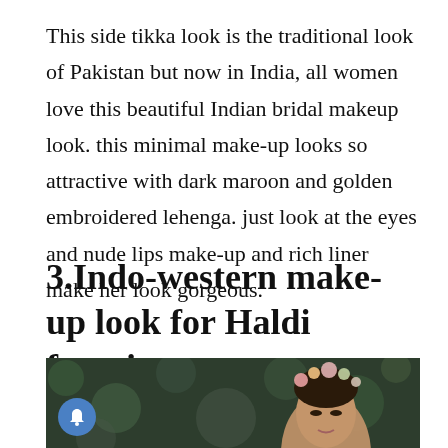This side tikka look is the traditional look of Pakistan but now in India, all women love this beautiful Indian bridal makeup look. this minimal make-up looks so attractive with dark maroon and golden embroidered lehenga. just look at the eyes and nude lips make-up and rich liner make her look gorgeous.
3.Indo-western make-up look for Haldi function
[Figure (photo): A woman with a floral crown in her hair, photographed against a dark green bokeh background. She appears to be wearing makeup suitable for a bridal or traditional Indian function.]